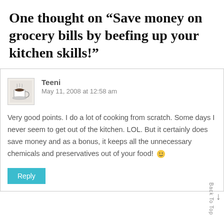One thought on “Save money on grocery bills by beefing up your kitchen skills!”
Teeni
May 11, 2008 at 12:58 am
Very good points. I do a lot of cooking from scratch. Some days I never seem to get out of the kitchen. LOL. But it certainly does save money and as a bonus, it keeps all the unnecessary chemicals and preservatives out of your food! 🙂
Reply
Back To Top